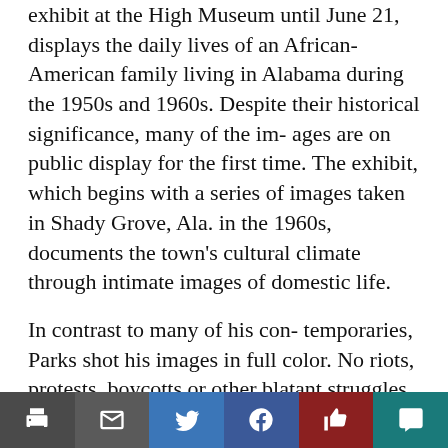exhibit at the High Museum until June 21, displays the daily lives of an African-American family living in Alabama during the 1950s and 1960s. Despite their historical significance, many of the im- ages are on public display for the first time. The exhibit, which begins with a series of images taken in Shady Grove, Ala. in the 1960s, documents the town's cultural climate through intimate images of domestic life.
In contrast to many of his con- temporaries, Parks shot his images in full color. No riots, protests, boycotts or other blatant struggles for equality find their way into his essay. His scenes of normality are far more complex than many of the now famous Civil Rights photographs. Parks' photographs seem dangerous: he depicts the ugly side of 1950s southern life. Like the eye of a
Toolbar with print, email, twitter, facebook, like, comment buttons